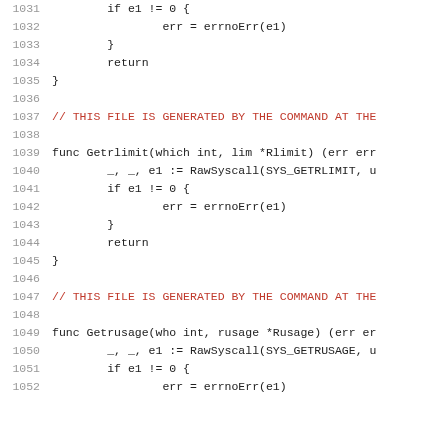Source code listing lines 1031-1052 showing Go syscall wrapper functions Getrlimit and Getrusage with generated file comment
1031: if e1 != 0 {
1032:     err = errnoErr(e1)
1033: }
1034:     return
1035: }
1036:
1037: // THIS FILE IS GENERATED BY THE COMMAND AT THE
1038:
1039: func Getrlimit(which int, lim *Rlimit) (err err
1040:     _, _, e1 := RawSyscall(SYS_GETRLIMIT, u
1041:     if e1 != 0 {
1042:         err = errnoErr(e1)
1043:     }
1044:     return
1045: }
1046:
1047: // THIS FILE IS GENERATED BY THE COMMAND AT THE
1048:
1049: func Getrusage(who int, rusage *Rusage) (err er
1050:     _, _, e1 := RawSyscall(SYS_GETRUSAGE, u
1051:     if e1 != 0 {
1052:         err = errnoErr(e1)